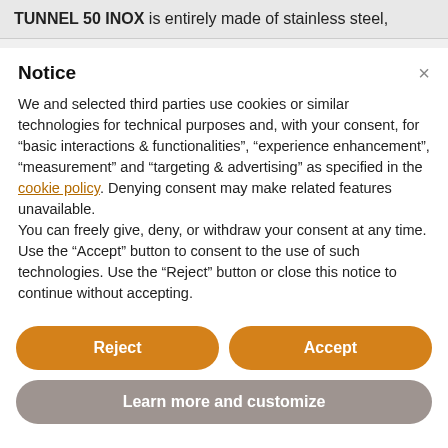TUNNEL 50 INOX is entirely made of stainless steel,
Notice
We and selected third parties use cookies or similar technologies for technical purposes and, with your consent, for “basic interactions & functionalities”, “experience enhancement”, “measurement” and “targeting & advertising” as specified in the cookie policy. Denying consent may make related features unavailable.
You can freely give, deny, or withdraw your consent at any time.
Use the “Accept” button to consent to the use of such technologies. Use the “Reject” button or close this notice to continue without accepting.
Reject
Accept
Learn more and customize